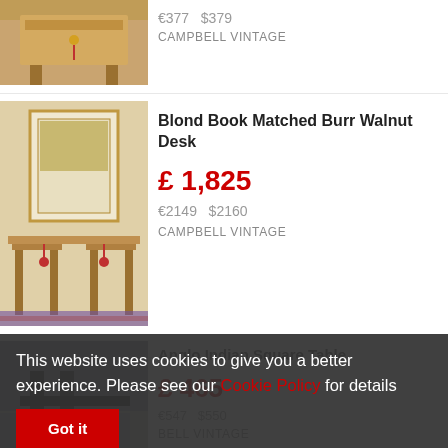€377  $379
CAMPBELL VINTAGE
[Figure (photo): Photo of a wooden writing desk with tassel drawer pull]
Blond Book Matched Burr Walnut Desk
£ 1,825
€2149  $2160
CAMPBELL VINTAGE
[Figure (photo): Photo of Anglo Indian Square Table with dark legs]
Anglo Indian Square Table
£ 465
€547  $550
BELL VINTAGE
This website uses cookies to give you a better experience. Please see our Cookie Policy for details
Got it